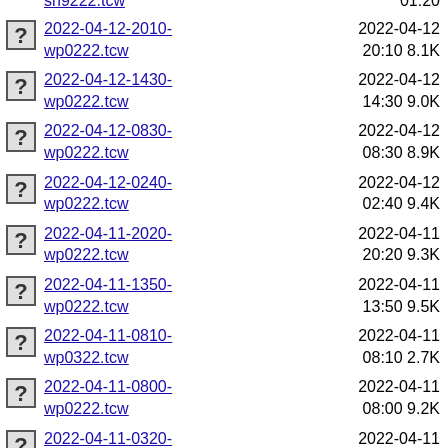sn9222.tcw — 01:20
2022-04-12-2010-wp0222.tcw — 2022-04-12 20:10 8.1K
2022-04-12-1430-wp0222.tcw — 2022-04-12 14:30 9.0K
2022-04-12-0830-wp0222.tcw — 2022-04-12 08:30 8.9K
2022-04-12-0240-wp0222.tcw — 2022-04-12 02:40 9.4K
2022-04-11-2020-wp0222.tcw — 2022-04-11 20:20 9.3K
2022-04-11-1350-wp0222.tcw — 2022-04-11 13:50 9.5K
2022-04-11-0810-wp0322.tcw — 2022-04-11 08:10 2.7K
2022-04-11-0800-wp0222.tcw — 2022-04-11 08:00 9.2K
2022-04-11-0320-wp0322.tcw — 2022-04-11 03:20 2.5K
2022-04-11-0240-wp0222.tcw — 2022-04-11 02:40 9.4K
2022-04-10-2130-wp0322.tcw — 2022-04-10 21:30 2.6K